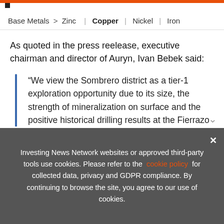Base Metals > Zinc | Copper | Nickel | Iron
As quoted in the press reelease, executive chairman and director of Auryn, Ivan Bebek said:
“We view the Sombrero district as a tier-1 exploration opportunity due to its size, the strength of mineralization on surface and the positive historical drilling results at the Fierrazo target. We have demonstrated that Sombrero is the western extension of th…
Investing News Network websites or approved third-party tools use cookies. Please refer to the cookie policy for collected data, privacy and GDPR compliance. By continuing to browse the site, you agree to our use of cookies.